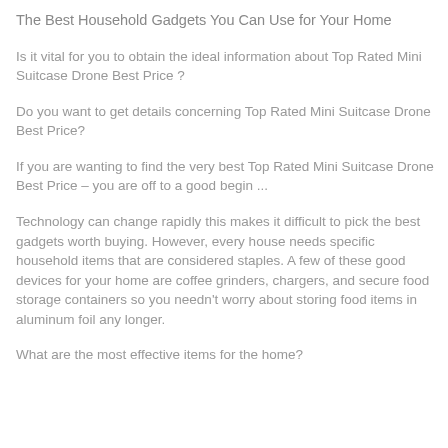fun!
The Best Household Gadgets You Can Use for Your Home
Is it vital for you to obtain the ideal information about Top Rated Mini Suitcase Drone Best Price ?
Do you want to get details concerning Top Rated Mini Suitcase Drone Best Price?
If you are wanting to find the very best Top Rated Mini Suitcase Drone Best Price – you are off to a good begin ...
Technology can change rapidly this makes it difficult to pick the best gadgets worth buying. However, every house needs specific household items that are considered staples. A few of these good devices for your home are coffee grinders, chargers, and secure food storage containers so you needn't worry about storing food items in aluminum foil any longer.
What are the most effective items for the home?